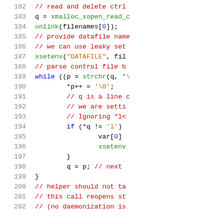[Figure (screenshot): Source code listing showing lines 182-202 of a C program with syntax highlighting. Line numbers in gray on left, comments in red, keywords in blue, strings in orange, function names in green.]